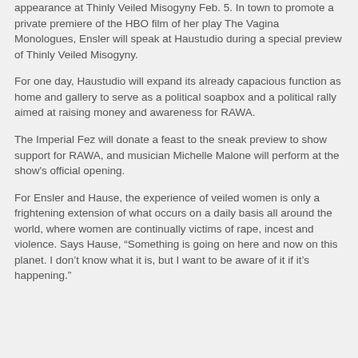appearance at Thinly Veiled Misogyny Feb. 5. In town to promote a private premiere of the HBO film of her play The Vagina Monologues, Ensler will speak at Haustudio during a special preview of Thinly Veiled Misogyny.
For one day, Haustudio will expand its already capacious function as home and gallery to serve as a political soapbox and a political rally aimed at raising money and awareness for RAWA.
The Imperial Fez will donate a feast to the sneak preview to show support for RAWA, and musician Michelle Malone will perform at the show's official opening.
For Ensler and Hause, the experience of veiled women is only a frightening extension of what occurs on a daily basis all around the world, where women are continually victims of rape, incest and violence. Says Hause, "Something is going on here and now on this planet. I don't know what it is, but I want to be aware of it if it's happening."